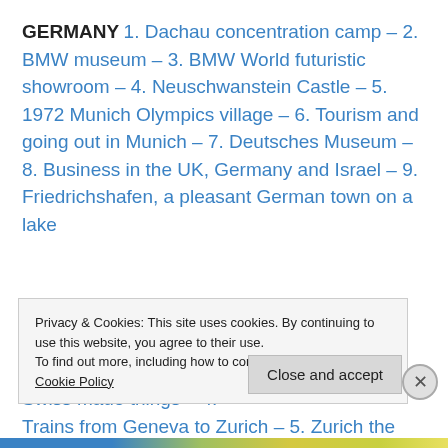GERMANY 1. Dachau concentration camp – 2. BMW museum – 3. BMW World futuristic showroom – 4. Neuschwanstein Castle – 5. 1972 Munich Olympics village – 6. Tourism and going out in Munich – 7. Deutsches Museum – 8. Business in the UK, Germany and Israel – 9. Friedrichshafen, a pleasant German town on a lake
SWITZERLAND 1. Trying to do 'cheap' Switzerland – 2. The town of Grusch – 3. Clever Swiss made things – 4. Trains from Geneva to Zurich – 5. Zurich the most liberal...
Privacy & Cookies: This site uses cookies. By continuing to use this website, you agree to their use.
To find out more, including how to control cookies, see here: Cookie Policy